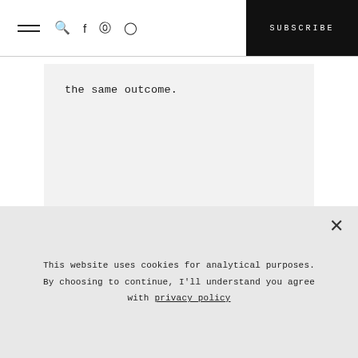SUBSCRIBE
the same outcome.
AN ASMR
September 4, 2021 at 6:48 am
This website uses cookies for analytical purposes. By choosing to continue, I'll understand you agree with privacy policy